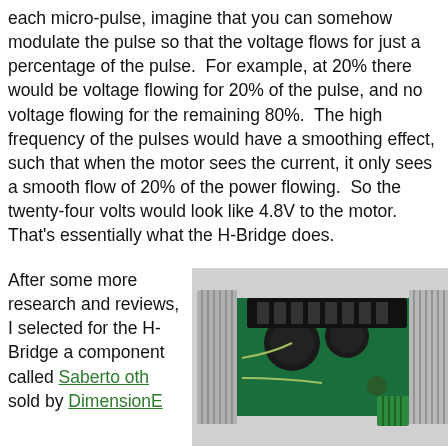each micro-pulse, imagine that you can somehow modulate the pulse so that the voltage flows for just a percentage of the pulse. For example, at 20% there would be voltage flowing for 20% of the pulse, and no voltage flowing for the remaining 80%. The high frequency of the pulses would have a smoothing effect, such that when the motor sees the current, it only sees a smooth flow of 20% of the power flowing. So the twenty-four volts would look like 4.8V to the motor. That's essentially what the H-Bridge does.
After some more research and reviews, I selected for the H-Bridge a component called Sabertooth sold by DimensionE
[Figure (photo): Photo of an H-Bridge motor controller PCB with large heat sinks on both sides, black capacitors, and green terminal connectors.]